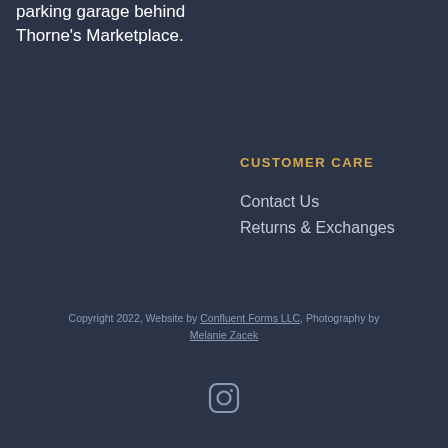parking garage behind Thorne's Marketplace.
CUSTOMER CARE
Contact Us
Returns & Exchanges
Copyright 2022, Website by Confluent Forms LLC, Photography by Melanie Zacek
[Figure (illustration): Instagram icon (camera outline with rounded square border)]